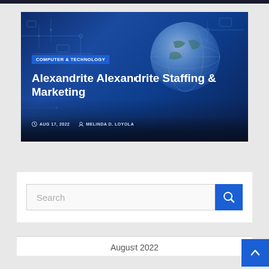[Figure (screenshot): Article card with blue circuit board and keyboard background, globe image, showing category tag 'COMPUTER & TECHNOLOGY', article title 'Alexandrite Alexandrite Staffing & Marketing', date 'AUG 17, 2022', author 'MELINDA D. LOYOLA']
COMPUTER & TECHNOLOGY
Alexandrite Alexandrite Staffing & Marketing
AUG 17, 2022   MELINDA D. LOYOLA
Search
August 2022